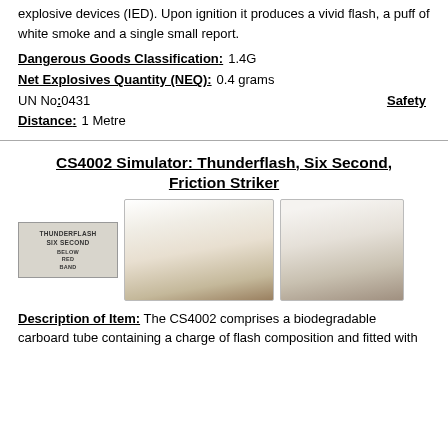explosive devices (IED). Upon ignition it produces a vivid flash, a puff of white smoke and a single small report.
Dangerous Goods Classification: 1.4G
Net Explosives Quantity (NEQ): 0.4 grams
UN No: 0431
Safety
Distance: 1 Metre
CS4002 Simulator: Thunderflash, Six Second, Friction Striker
[Figure (photo): Three images: left shows a grey cardboard tube labeled THUNDERFLASH SIX SECOND with BELOW RED BAND text; center shows a large white smoke cloud at ground level outdoors; right shows a smaller white smoke cloud outdoors.]
Description of Item: The CS4002 comprises a biodegradable carboard tube containing a charge of flash composition and fitted with